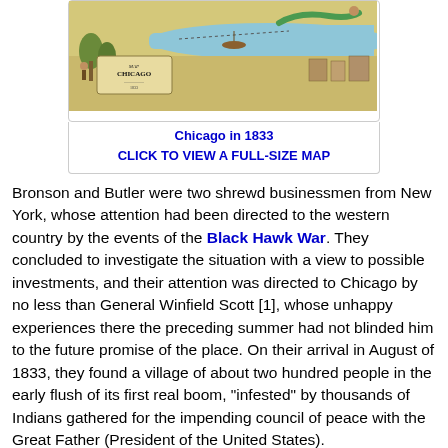[Figure (map): Antique illustrated map of Chicago in 1833, showing the settlement along a river with decorative cartographic elements including trees, figures, buildings, and ornate title cartouche reading 'MAP OF CHICAGO'.]
Chicago in 1833
CLICK TO VIEW A FULL-SIZE MAP
Bronson and Butler were two shrewd businessmen from New York, whose attention had been directed to the western country by the events of the Black Hawk War. They concluded to investigate the situation with a view to possible investments, and their attention was directed to Chicago by no less than General Winfield Scott [1], whose unhappy experiences there the preceding summer had not blinded him to the future promise of the place. On their arrival in August of 1833, they found a village of about two hundred people in the early flush of its first real boom, "infested" by thousands of Indians gathered for the impending council of peace with the Great Father (President of the United States).
To the northeast lay the territory of Michigan with a population of 28,000...